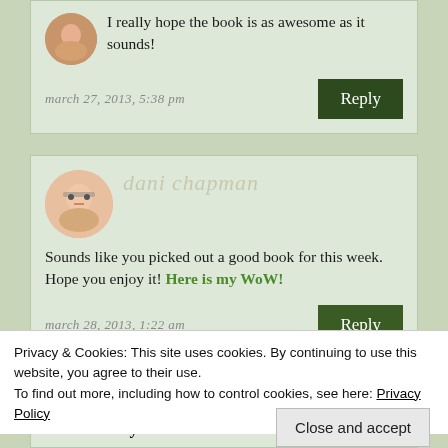I really hope the book is as awesome as it sounds!
march 27, 2013, 5:38 pm
Reply
dani chapman
Sounds like you picked out a good book for this week. Hope you enjoy it! Here is my WoW!
march 28, 2013, 1:22 am
Reply
Privacy & Cookies: This site uses cookies. By continuing to use this website, you agree to their use.
To find out more, including how to control cookies, see here: Privacy Policy
Close and accept
to see what you think!